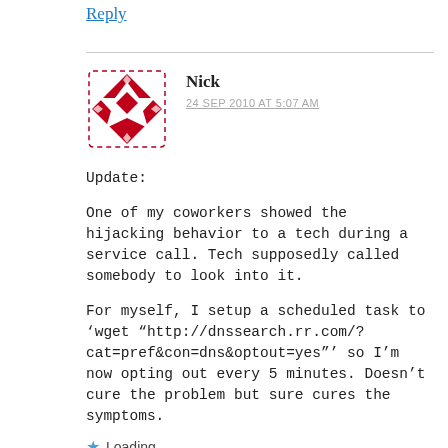Reply
[Figure (illustration): WordPress-style avatar icon: geometric diamond/star shape in dark red/crimson with dashed border outline]
Nick
24 SEP 2010 AT 5:07 AM
Update:

One of my coworkers showed the hijacking behavior to a tech during a service call. Tech supposedly called somebody to look into it.

For myself, I setup a scheduled task to ‘wget “http://dnssearch.rr.com/?cat=pref&con=dns&optout=yes”’ so I’m now opting out every 5 minutes. Doesn’t cure the problem but sure cures the symptoms.
Loading...
Reply